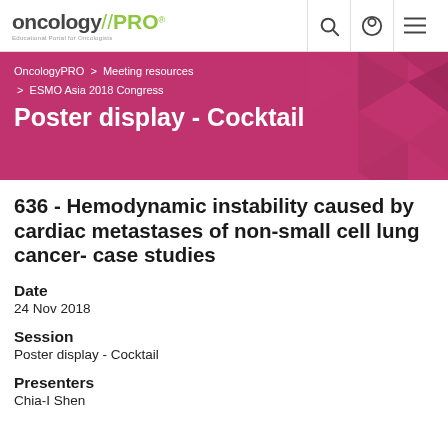[Figure (logo): OncologyPRO logo with green slash and PRO text, tagline 'Educational Portal for Oncologists']
OncologyPRO > Meeting resources > ESMO Asia 2018 Congress
Poster display - Cocktail
636 - Hemodynamic instability caused by cardiac metastases of non-small cell lung cancer- case studies
Date
24 Nov 2018
Session
Poster display - Cocktail
Presenters
Chia-I Shen